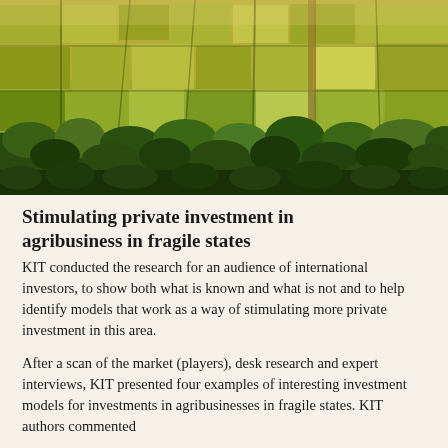[Figure (photo): Aerial photograph of green agricultural farmland fields divided into plots, with trees and vegetation visible, warm golden-green tones]
Stimulating private investment in agribusiness in fragile states
KIT conducted the research for an audience of international investors, to show both what is known and what is not and to help identify models that work as a way of stimulating more private investment in this area.
After a scan of the market (players), desk research and expert interviews, KIT presented four examples of interesting investment models for investments in agribusinesses in fragile states. KIT authors commented